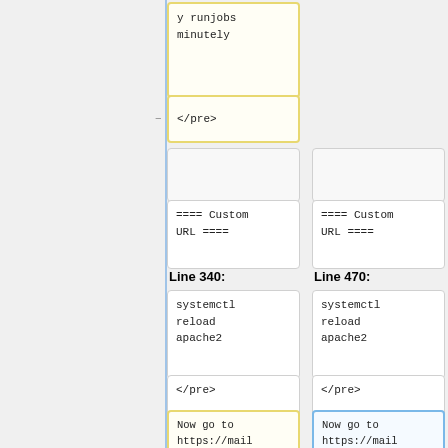y runjobs minutely
</pre>
==== Custom URL ====
==== Custom URL ====
Line 340:
Line 470:
systemctl reload apache2
systemctl reload apache2
</pre>
</pre>
Now go to https://mailman.csclub.uwaterloo.ca/postorius/domains and
Now go to https://mailman.csclub.uwaterloo.ca/postorius/domains and